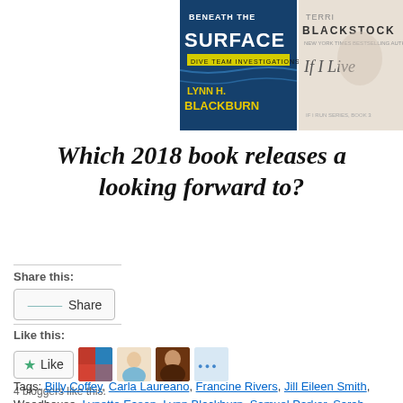[Figure (photo): Two book covers side by side: 'Beneath the Surface' by Lynn H. Blackburn (Dive Team Investigations) and 'If I Live' by Terri Blackstock]
Which 2018 book releases are you looking forward to?
Share this:
Share
Like this:
Like
4 bloggers like this.
Tags: Billy Coffey, Carla Laureano, Francine Rivers, Jill Eileen Smith, Woodhouse, Lynette Eason, Lynn Blackburn, Samuel Parker, Sarah